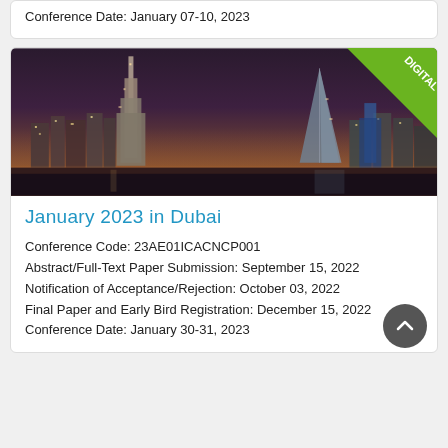Conference Date: January 07-10, 2023
[Figure (photo): Dubai city skyline at night with Burj Khalifa and Burj Al Arab visible, with a green 'DIGITAL' banner in the top-right corner]
January 2023 in Dubai
Conference Code: 23AE01ICACNCP001
Abstract/Full-Text Paper Submission: September 15, 2022
Notification of Acceptance/Rejection: October 03, 2022
Final Paper and Early Bird Registration: December 15, 2022
Conference Date: January 30-31, 2023